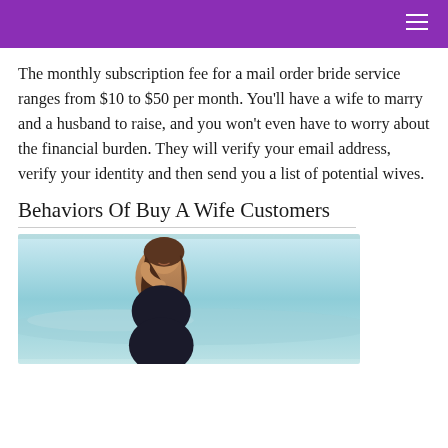The monthly subscription fee for a mail order bride service ranges from $10 to $50 per month. You’ll have a wife to marry and a husband to raise, and you won’t even have to worry about the financial burden. They will verify your email address, verify your identity and then send you a list of potential wives.
Behaviors Of Buy A Wife Customers
[Figure (photo): A smiling young woman with long brown hair sitting on a beach with ocean waves in the background]